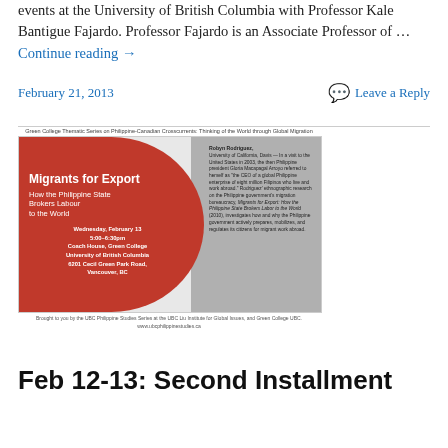events at the University of British Columbia with Professor Kale Bantigue Fajardo. Professor Fajardo is an Associate Professor of … Continue reading →
February 21, 2013
Leave a Reply
[Figure (illustration): Event poster for 'Migrants for Export: How the Philippine State Brokers Labour to the World' lecture by Robyn Rodriguez, Wednesday February 13, 5:00-6:30pm, Coach House, Green College, University of British Columbia, 6201 Cecil Green Park Road, Vancouver, BC. Features a large red circle on left with white text over a black-and-white photo background. Caption above reads 'Green College Thematic Series on Philippine-Canadian Crosscurrents: Thinking of the World through Global Migration'. Caption below reads 'Brought to you by the UBC Philippine Studies Series at the UBC Liu Institute for Global Issues, and Green College UBC. www.ubcphilippinestudies.ca']
Feb 12-13: Second Installment